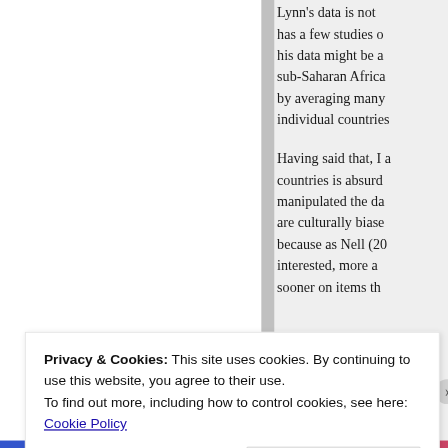Lynn's data is not has a few studies of his data might be a sub-Saharan Africa by averaging many individual countries
Having said that, I a countries is absurd manipulated the da are culturally biase because as Nell (20 interested, more a sooner on items th
Privacy & Cookies: This site uses cookies. By continuing to use this website, you agree to their use.
To find out more, including how to control cookies, see here: Cookie Policy